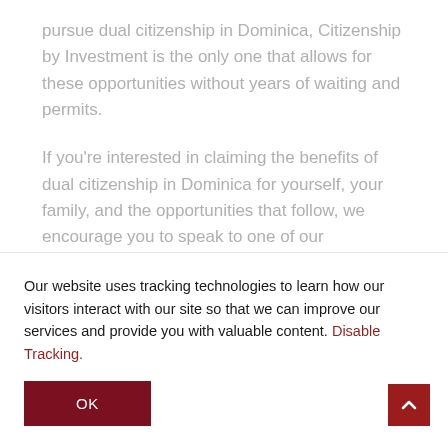pursue dual citizenship in Dominica, Citizenship by Investment is the only one that allows for these opportunities without years of waiting and permits.
If you're interested in claiming the benefits of dual citizenship in Dominica for yourself, your family, and the opportunities that follow, we encourage you to speak to one of our Citizenship by Investment consultants.
[Figure (other): Dark red/maroon horizontal button bar, partially visible]
Our website uses tracking technologies to learn how our visitors interact with our site so that we can improve our services and provide you with valuable content. Disable Tracking.
OK